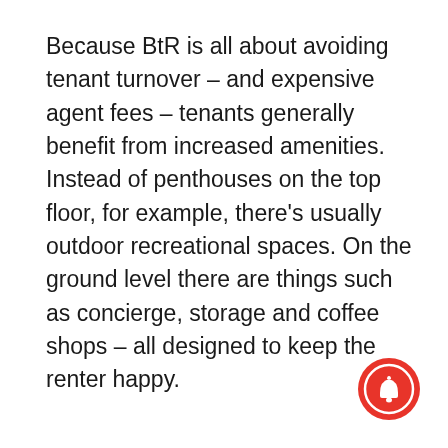Because BtR is all about avoiding tenant turnover – and expensive agent fees – tenants generally benefit from increased amenities. Instead of penthouses on the top floor, for example, there's usually outdoor recreational spaces. On the ground level there are things such as concierge, storage and coffee shops – all designed to keep the renter happy.
[Figure (other): Red circular notification bell button icon in the bottom-right corner]